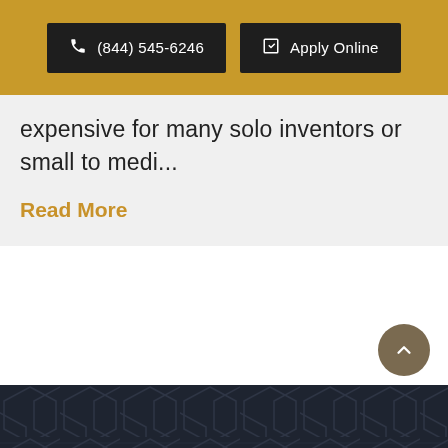(844) 545-6246 | Apply Online
expensive for many solo inventors or small to medi...
Read More
[Figure (infographic): Dark footer with hexagonal geometric pattern background and scroll-to-top button]